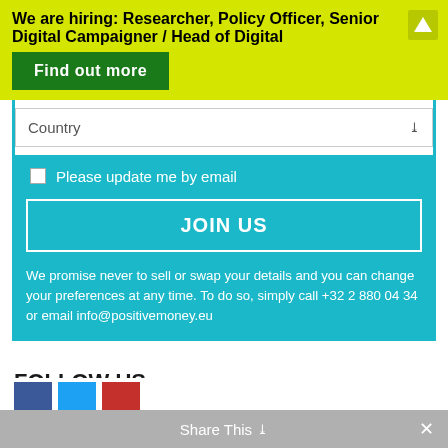We are hiring: Researcher, Policy Officer, Senior Digital Campaigner / Head of Digital
Find out more
Country
Please update me by email
JOIN US
We promise never to sell or swap your details and you can change your preferences at any time. To do so, simply call +32 2 880 04 34 or email info@positivemoney.eu
FOLLOW US
Share This